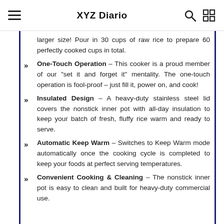XYZ Diario
larger size! Pour in 30 cups of raw rice to prepare 60 perfectly cooked cups in total.
One-Touch Operation – This cooker is a proud member of our "set it and forget it" mentality. The one-touch operation is fool-proof – just fill it, power on, and cook!
Insulated Design – A heavy-duty stainless steel lid covers the nonstick inner pot with all-day insulation to keep your batch of fresh, fluffy rice warm and ready to serve.
Automatic Keep Warm – Switches to Keep Warm mode automatically once the cooking cycle is completed to keep your foods at perfect serving temperatures.
Convenient Cooking & Cleaning – The nonstick inner pot is easy to clean and built for heavy-duty commercial use.